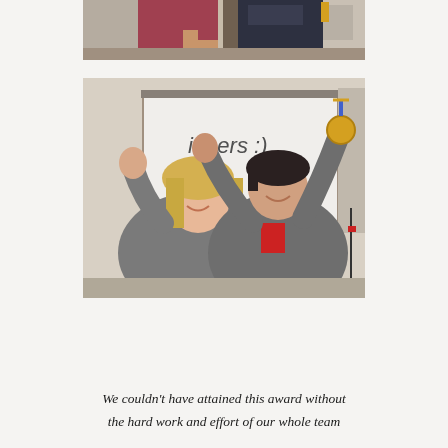[Figure (photo): Top portion of a photo showing two people standing together indoors, one in a red/burgundy top and one in a dark vest, in what appears to be a warehouse or industrial space.]
[Figure (photo): Two women in grey zip-up jackets celebrating in front of a whiteboard that reads 'inners :)'. One woman has her arms raised and is holding a gold medal. Both are smiling and celebrating.]
We couldn't have attained this award without the hard work and effort of our whole team